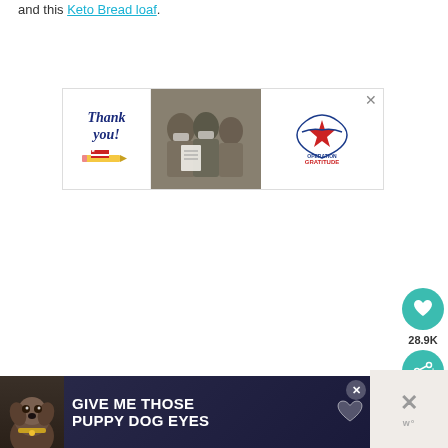and this Keto Bread loaf.
[Figure (photo): Advertisement banner for Operation Gratitude featuring 'Thank you!' handwritten text with a pencil decorated with a US flag, a photo of military personnel in camouflage uniforms and masks, and the Operation Gratitude logo with a star.]
[Figure (infographic): Social media sidebar buttons: a teal heart button and a share button with count 28.9K]
[Figure (photo): Bottom advertisement banner with dark background showing a dog and text 'GIVE ME THOSE PUPPY DOG EYES' in large white bold uppercase letters, with a close button and heart icon.]